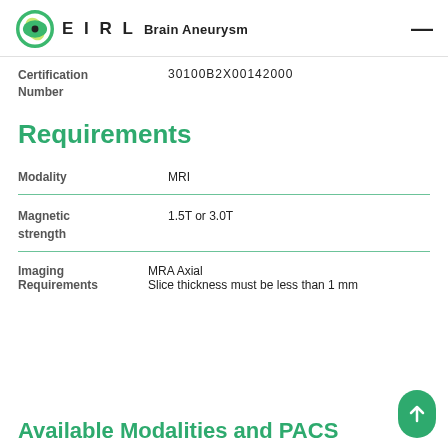EIRL Brain Aneurysm
Certification Number   30100B2X00142000
Requirements
| Field | Value |
| --- | --- |
| Modality | MRI |
| Magnetic strength | 1.5T or 3.0T |
| Imaging Requirements | MRA Axial
Slice thickness must be less than 1 mm |
Available Modalities and PACS